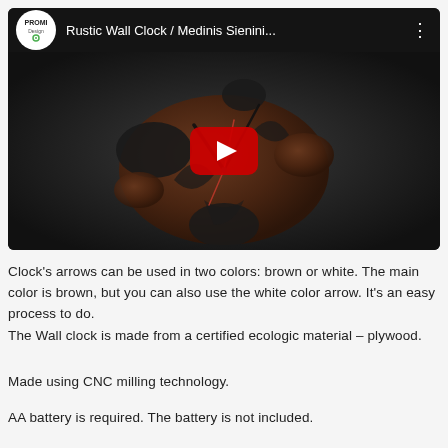[Figure (screenshot): YouTube video thumbnail showing a rustic wooden wall clock shaped like bat wings with clock hands, dark background. Video title: 'Rustic Wall Clock / Medinis Sienini...' with PROMI Design channel logo.]
Clock's arrows can be used in two colors: brown or white. The main color is brown, but you can also use the white color arrow. It's an easy process to do.
The Wall clock is made from a certified ecologic material – plywood.
Made using CNC milling technology.
AA battery is required. The battery is not included.